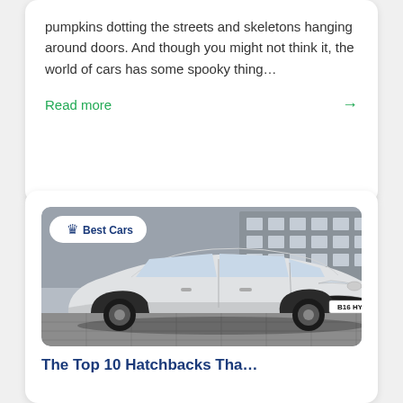pumpkins dotting the streets and skeletons hanging around doors. And though you might not think it, the world of cars has some spooky thing…
Read more →
[Figure (photo): White Hyundai i10 hatchback car with license plate B16 HYU, parked in front of a building, with a 'Best Cars' badge overlay in top-left corner]
The Top 10 Hatchbacks Tha...